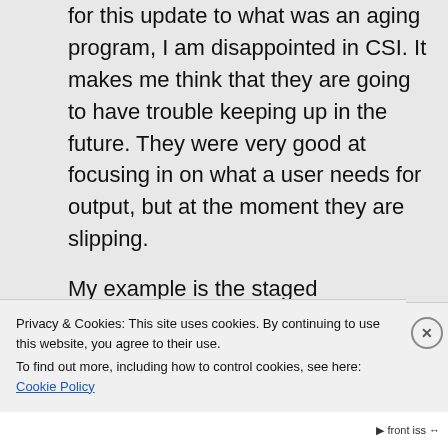for this update to what was an aging program, I am disappointed in CSI. It makes me think that they are going to have trouble keeping up in the future. They were very good at focusing in on what a user needs for output, but at the moment they are slipping.
My example is the staged construction module. They have not thought through that we might want
Privacy & Cookies: This site uses cookies. By continuing to use this website, you agree to their use.
To find out more, including how to control cookies, see here: Cookie Policy